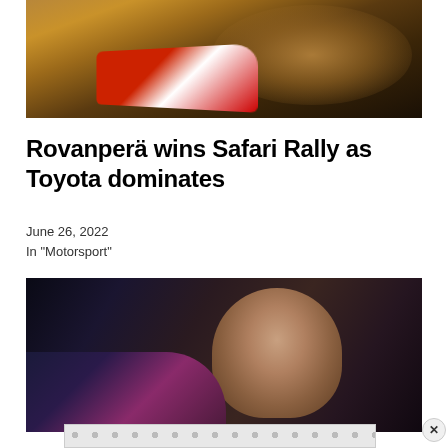[Figure (photo): Rally car kicking up a large dust cloud on a dirt track]
Rovanperä wins Safari Rally as Toyota dominates
June 26, 2022
In "Motorsport"
[Figure (photo): Rally driver smiling inside a race car cockpit, wearing a racing suit]
[Figure (other): Advertisement banner with repeating pattern]